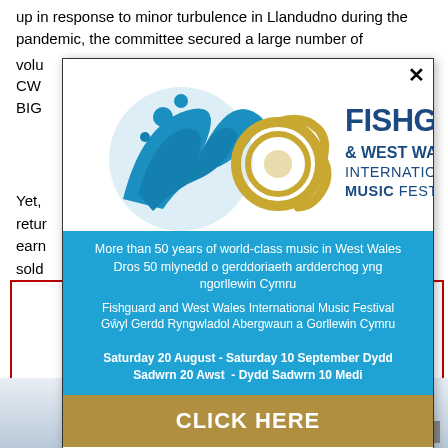up in response to minor turbulence in Llandudno during the pandemic, the committee secured a large number of volunteers... CWW... BIG...
Yet, retu... are earn... r sold...
[Figure (advertisement): Fishguard & West Wales International Music Festival popup advertisement with logo, blue information section, and gold click here button]
More than 50 years of world-class music in West Wales Dros 50 mlynedd o gerddoriaeth ardderchog yng ngorllewin Cymru
Fishguard and West Wales International Music Festival Gŵyl Gerdd Ryngwladol Abergwaun a Gorllewin Cymru
Saturday 20 August - Saturday 10 September Dydd Sadwrn 20 Awst - Dydd Sadwrn 10 Medi